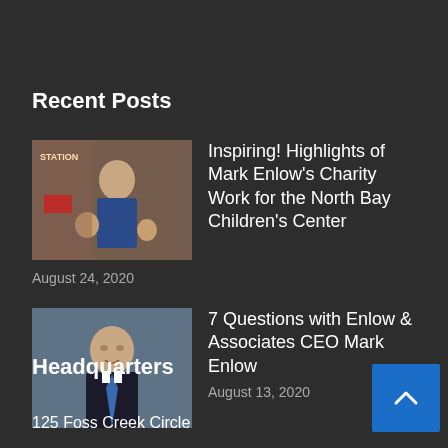Recent Posts
[Figure (photo): Thumbnail photo of Mark Enlow with children at charity event]
Inspiring! Highlights of Mark Enlow's Charity Work for the North Bay Children's Center
August 24, 2020
[Figure (photo): Thumbnail photo of Mark Enlow, CEO portrait in suit]
7 Questions with Enlow & Associates CEO Mark Enlow
August 13, 2020
Headquarters
125 Foss Creek Circle